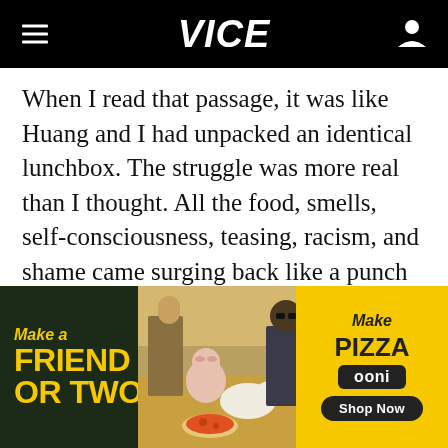VICE
When I read that passage, it was like Huang and I had unpacked an identical lunchbox. The struggle was more real than I thought. All the food, smells, self-consciousness, teasing, racism, and shame came surging back like a punch in the nose by a steamy plate of stinky tofu.
[Figure (infographic): Advertisement banner for Ooni pizza oven. Left dark section with yellow text reading 'Make a FRIEND OR TWO'. Center shows a photo of people at a picnic with a dog and pizza. Right yellow section reads 'Make Pizza', 'ooni' logo, 'Shop Now' button.]